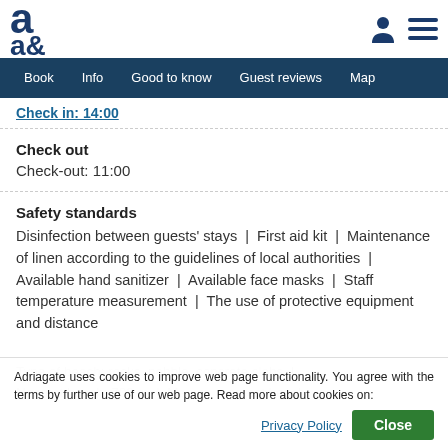a& [logo] | person icon | menu icon
Book  Info  Good to know  Guest reviews  Map
Check in: 14:00
Check out
Check-out: 11:00
Safety standards
Disinfection between guests' stays  |  First aid kit  |  Maintenance of linen according to the guidelines of local authorities  |  Available hand sanitizer  |  Available face masks  |  Staff temperature measurement  |  The use of protective equipment and distance
Adriagate uses cookies to improve web page functionality. You agree with the terms by further use of our web page. Read more about cookies on:
Type of beach: rocks, pebble, concrete slabs  |  Nearest beach: 700 m  |  Ma... nearest beach